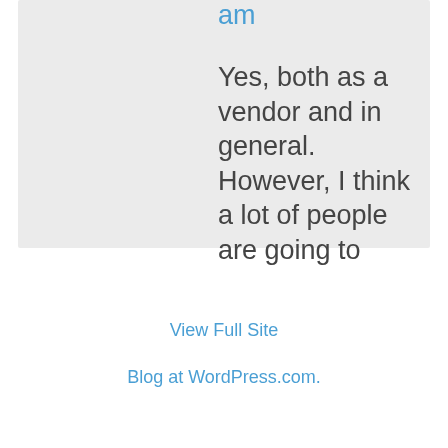am
Yes, both as a vendor and in general. However, I think a lot of people are going to want to come, so I'm excited.
View Full Site
Blog at WordPress.com.